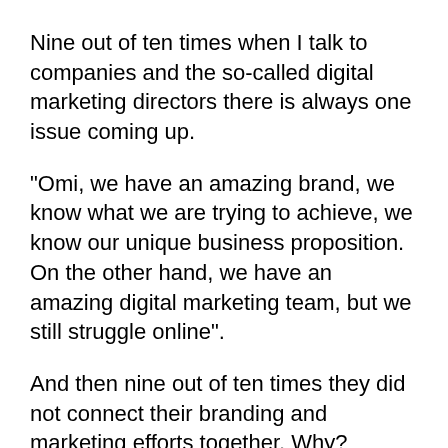Nine out of ten times when I talk to companies and the so-called digital marketing directors there is always one issue coming up.
“Omi, we have an amazing brand, we know what we are trying to achieve, we know our unique business proposition. On the other hand, we have an amazing digital marketing team, but we still struggle online”.
And then nine out of ten times they did not connect their branding and marketing efforts together. Why?
There is a very simple answer: SEO. SEO is the